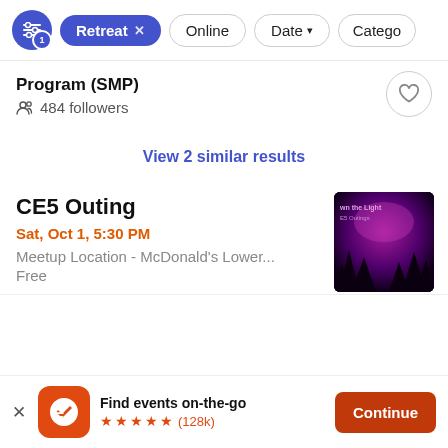Retreat × | Online | Date ▾ | Catego…
Program (SMP)
484 followers
View 2 similar results
CE5 Outing
Sat, Oct 1, 5:30 PM
Meetup Location - McDonald's Lower...
Free
[Figure (photo): Dark moody image with purple sky, silhouetted trees, and text 'wn the Light E5 Outings']
Find events on-the-go ★★★★★ (128k)
Continue